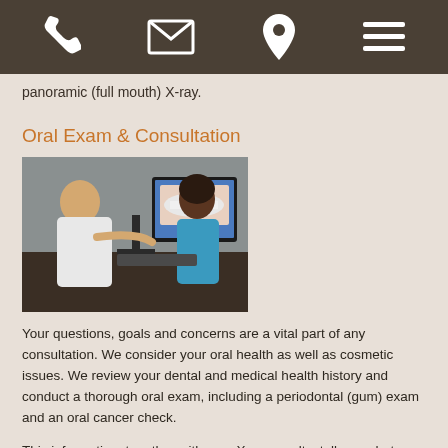[navigation icons: phone, email, location, menu]
panoramic (full mouth) X-ray.
Oral Exam & Consultation
[Figure (photo): A dentist in a white coat sitting across a desk from a patient, pointing at a dental X-ray image displayed on a computer monitor.]
Your questions, goals and concerns are a vital part of any consultation. We consider your oral health as well as cosmetic issues. We review your dental and medical health history and conduct a thorough oral exam, including a periodontal (gum) exam and an oral cancer check.
This information, together with your X-ray results, tells us what we need to know to work out your individual treatment plan. We'll